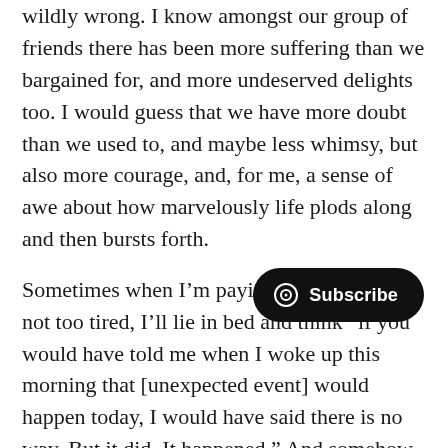wildly wrong. I know amongst our group of friends there has been more suffering than we bargained for, and more undeserved delights too. I would guess that we have more doubt than we used to, and maybe less whimsy, but also more courage, and, for me, a sense of awe about how marvelously life plods along and then bursts forth.

Sometimes when I’m paying attention and not too tired, I’ll lie in bed and think “if you would have told me when I woke up this morning that [unexpected event] would happen today, I would have said there is no way. But it did. It happened.” And somehow that encounter with the wondrous idea that our plan the day’s unfolding is enough to send night's sleep that, night after night, turns days into
[Figure (other): A dark oval Subscribe button with a circular logo icon on the left side, overlaid on the bottom-right of the text.]